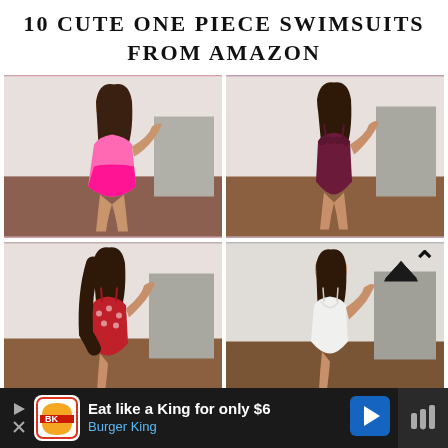10 CUTE ONE PIECE SWIMSUITS FROM AMAZON
[Figure (photo): Four mirror selfie photos of a woman trying on one-piece swimsuits from Amazon. Top-left: pink color-block one-piece. Top-right: dark burgundy scallop-trim one-piece. Bottom-left: red floral print one-piece. Bottom-right: white one-piece.]
Eat like a King for only $6  Burger King